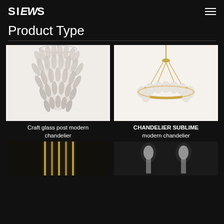SIEWS
Product Type
[Figure (photo): Crystal/glass tiered chandelier with leaf-shaped glass pieces, white background]
Craft glass post modern chandelier
[Figure (photo): Modern circular chandelier with gold ring and glass globe elements, white background]
CHANDELIER SUBLIME modern chandelier
[Figure (photo): Dark background image showing vertical gold rods - chandelier detail]
[Figure (photo): Dark background image showing candelabra-style light bulb tips]